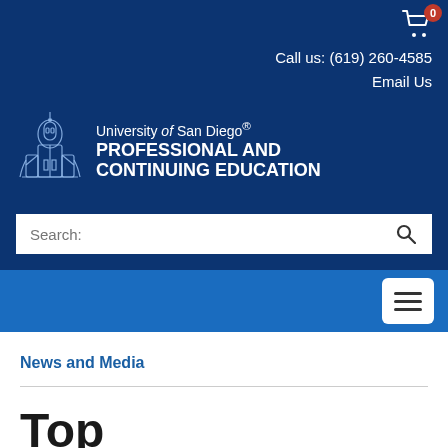[Figure (screenshot): University of San Diego Professional and Continuing Education website header with dark blue background, cart icon with badge showing 0, contact info, logo with building illustration, search bar, navigation bar with hamburger menu]
Call us: (619) 260-4585
Email Us
University of San Diego® PROFESSIONAL AND CONTINUING EDUCATION
Search:
News and Media
Top Visualization